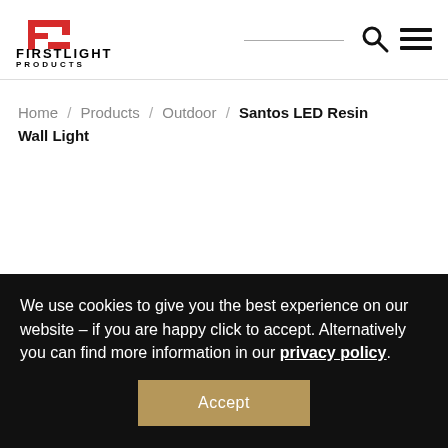[Figure (logo): Firstlight Products logo — red stylized FC mark above the text FIRSTLIGHT in bold black capitals, with PRODUCTS below in smaller spaced capitals]
Home / Products / Outdoor / Santos LED Resin Wall Light
We use cookies to give you the best experience on our website – if you are happy click to accept. Alternatively you can find more information in our privacy policy.
Accept